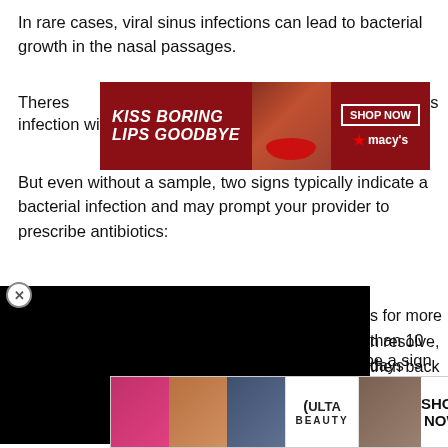In rare cases, viral sinus infections can lead to bacterial growth in the nasal passages.
[Figure (screenshot): Macy's lipstick advertisement banner: 'KISS BORING LIPS GOODBYE' with SHOP NOW button and macys logo, featuring woman with red lips]
Theres [ad overlay] sinus infection without testing a mucus sample.
But even without a sample, two signs typically indicate a bacterial infection and may prompt your provider to prescribe antibiotics:
[Figure (screenshot): Black video player overlay covering part of list items]
s for more than 10 days
n resolve, then back worse a
Some people think yellow or green mucus may be a sign of a bacterial sinus infection, but colored mucus can [CLOSE] with viral in [ad] e a bacter [ad images]
[Figure (screenshot): Ulta Beauty advertisement banner at bottom with makeup product images and SHOP NOW button, with CLOSE button overlay]